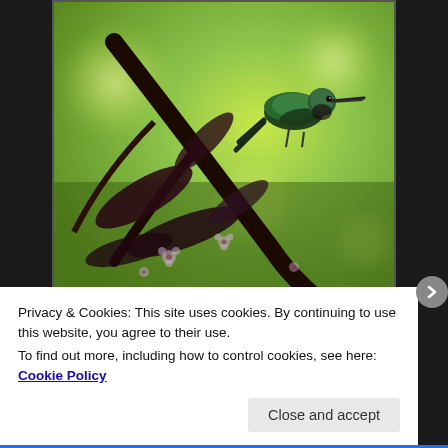[Figure (photo): Close-up photograph of a hummingbird perched on a dark tree branch with small pink flowers and dark leaves against a bright green blurred background.]
Photos by NB Hunter. © All rights reserved.
Privacy & Cookies: This site uses cookies. By continuing to use this website, you agree to their use.
To find out more, including how to control cookies, see here: Cookie Policy
Close and accept